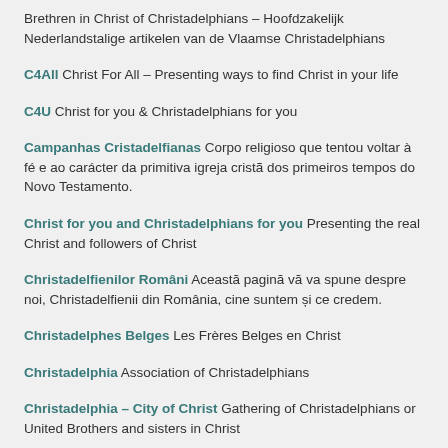Brethren in Christ of Christadelphians – Hoofdzakelijk Nederlandstalige artikelen van de Vlaamse Christadelphians
C4All Christ For All – Presenting ways to find Christ in your life
C4U Christ for you & Christadelphians for you
Campanhas Cristadelfianas Corpo religioso que tentou voltar à fé e ao carácter da primitiva igreja cristã dos primeiros tempos do Novo Testamento.
Christ for you and Christadelphians for you Presenting the real Christ and followers of Christ
Christadelfienilor Români Această pagină vă va spune despre noi, Christadelfienii din România, cine suntem și ce credem.
Christadelphes Belges Les Frères Belges en Christ
Christadelphia Association of Christadelphians
Christadelphia – City of Christ Gathering of Christadelphians or United Brothers and sisters in Christ